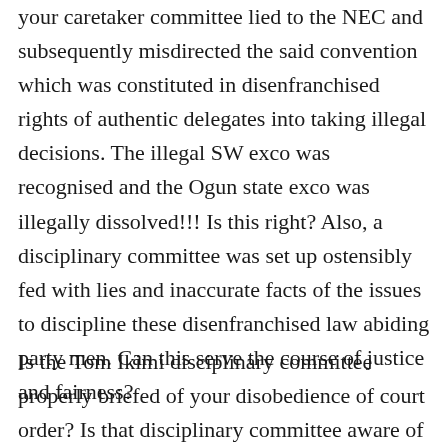your caretaker committee lied to the NEC and subsequently misdirected the said convention which was constituted in disenfranchised rights of authentic delegates into taking illegal decisions. The illegal SW exco was recognised and the Ogun state exco was illegally dissolved!!! Is this right? Also, a disciplinary committee was set up ostensibly fed with lies and inaccurate facts of the issues to discipline these disenfranchised law abiding party men. Can this serve the course of justice and fairness?
Is the Tom Ikimi disciplinary committee properly briefed of your disobedience of court order? Is that disciplinary committee aware of the subsisting